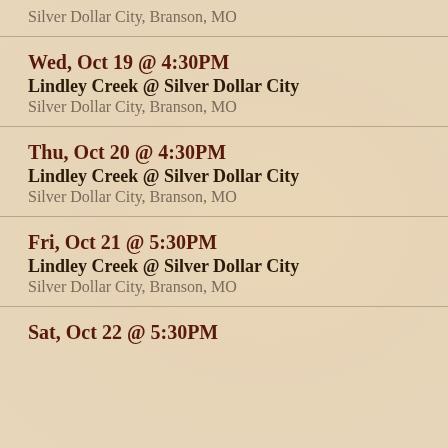Silver Dollar City, Branson, MO
Wed, Oct 19 @ 4:30PM
Lindley Creek @ Silver Dollar City
Silver Dollar City, Branson, MO
Thu, Oct 20 @ 4:30PM
Lindley Creek @ Silver Dollar City
Silver Dollar City, Branson, MO
Fri, Oct 21 @ 5:30PM
Lindley Creek @ Silver Dollar City
Silver Dollar City, Branson, MO
Sat, Oct 22 @ 5:30PM